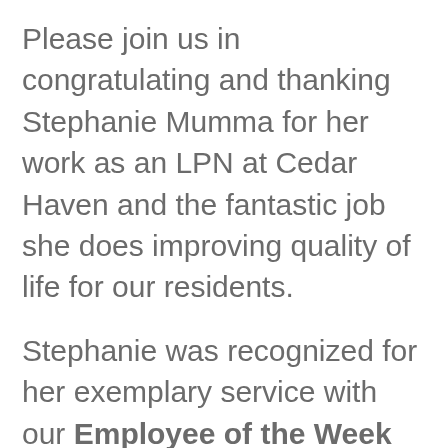Please join us in congratulating and thanking Stephanie Mumma for her work as an LPN at Cedar Haven and the fantastic job she does improving quality of life for our residents.
Stephanie was recognized for her exemplary service with our Employee of the Week award. You can read comments from the team-members who nominated Stephanie for this recognition award included below.
Stephanie, thank you for your commitment to the residents at Cedar Haven and for all you do to